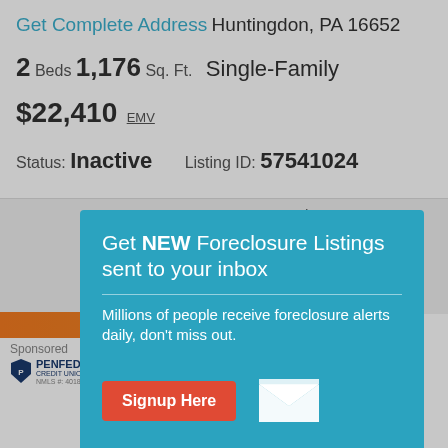Get Complete Address Huntingdon, PA 16652
2 Beds  1,176 Sq. Ft.  Single-Family
$22,410 EMV
Status: Inactive   Listing ID: 57541024
6.316%
Rate: 6.250%
30 yr Fixed Conforming
$1,251
Fees: $1,395
Points: 0.00
Sponsored
PENFED CREDIT UNION
NMLS #: 401822
Get NEW Foreclosure Listings sent to your inbox
Millions of people receive foreclosure alerts daily, don't miss out.
Signup Here
No Thanks | Remind Me Later